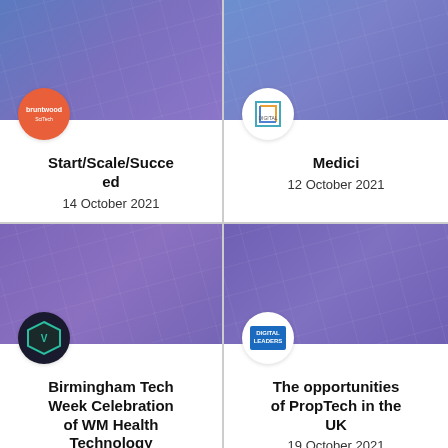[Figure (other): Event card top-left: Bruntwood SciTech logo on gradient purple-blue background]
Start/Scale/Succeed
14 October 2021
[Figure (other): Event card top-right: Digital Futures Hub logo on gradient purple-blue background]
Medici
12 October 2021
[Figure (other): Event card bottom-left: Vantage logo on gradient purple background]
Birmingham Tech Week Celebration of WM Health Technology
12 October 2021
[Figure (other): Event card bottom-right: Digital Leaders logo on gradient purple background]
The opportunities of PropTech in the UK
19 October 2021